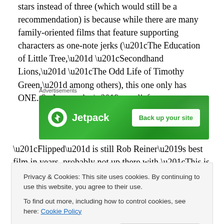stars instead of three (which would still be a recommendation) is because while there are many family-oriented films that feature supporting characters as one-note jerks (“The Education of Little Tree,” “Secondhand Lions,” “The Odd Life of Timothy Green,” among others), this one only has ONE. So I guess that’s a relief.
[Figure (infographic): Jetpack advertisement banner with green background showing Jetpack logo and 'Back up your site' button]
“Flipped” is still Rob Reiner’s best film in years–probably not up there with “This is Spinal Tap,” “Stand by Me,” “The
Privacy & Cookies: This site uses cookies. By continuing to use this website, you agree to their use.
To find out more, including how to control cookies, see here: Cookie Policy
standards. “Flipped” is still a pleasant, touching, satisfying